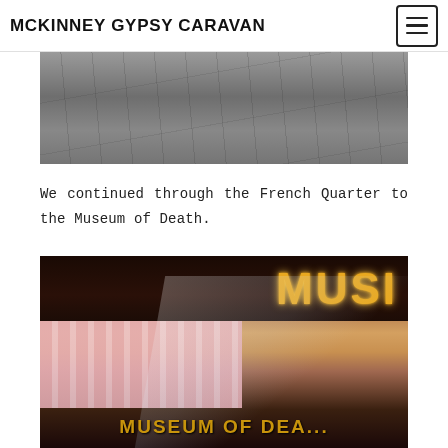MCKINNEY GYPSY CARAVAN
[Figure (photo): Partial photo of cracked pavement or road surface in grayscale]
We continued through the French Quarter to the Museum of Death.
[Figure (photo): Exterior photo of the Museum of Death building showing gold illuminated marquee letters spelling 'MUSE' at top and 'MUSEUM OF DEA...' text below, with pink striped curtains and ornate decorations visible in a window display]